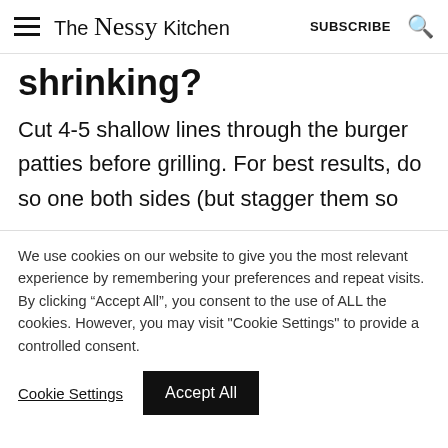The Nessy Kitchen  SUBSCRIBE
shrinking?
Cut 4-5 shallow lines through the burger patties before grilling. For best results, do so one both sides (but stagger them so
We use cookies on our website to give you the most relevant experience by remembering your preferences and repeat visits. By clicking “Accept All”, you consent to the use of ALL the cookies. However, you may visit "Cookie Settings" to provide a controlled consent.
Cookie Settings  Accept All